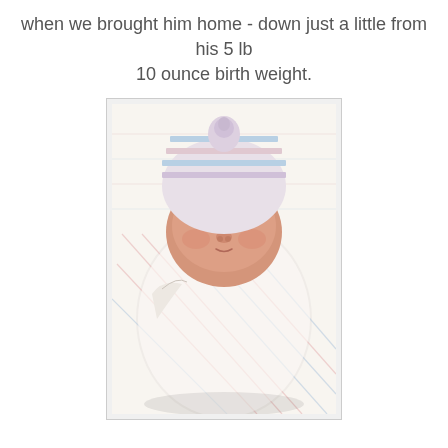when we brought him home - down just a little from his 5 lb 10 ounce birth weight.
[Figure (photo): A newborn baby swaddled in a white striped hospital blanket with pink and blue stripes, wearing a striped knit hospital hat. The baby is sleeping peacefully, lying on a white surface.]